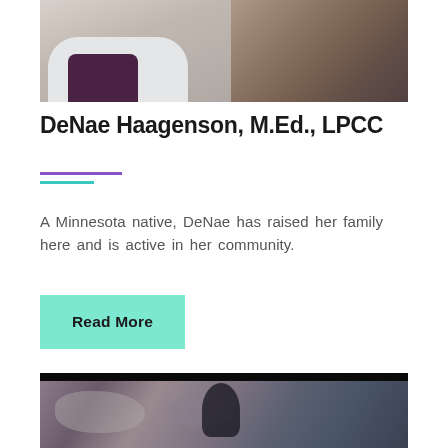[Figure (photo): Portrait photo of DeNae Haagenson, a woman in a white jacket over a dark top, standing in front of a wooden/textured background]
DeNae Haagenson, M.Ed., LPCC
A Minnesota native, DeNae has raised her family here and is active in her community.
Read More
[Figure (photo): Photo appearing to show a cave or rocky landscape with a dark figure, cropped at bottom of page]